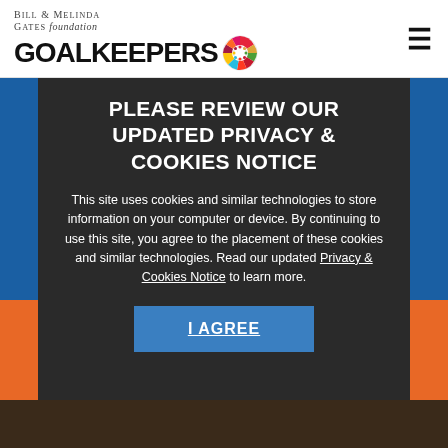Bill & Melinda Gates foundation GOALKEEPERS [SDG circle logo] [hamburger menu]
PLEASE REVIEW OUR UPDATED PRIVACY & COOKIES NOTICE
This site uses cookies and similar technologies to store information on your computer or device. By continuing to use this site, you agree to the placement of these cookies and similar technologies. Read our updated Privacy & Cookies Notice to learn more.
I AGREE